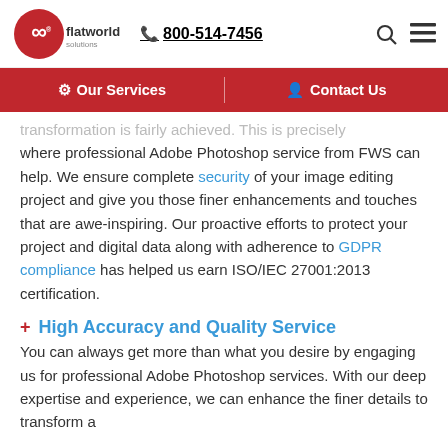flatworld solutions  800-514-7456
Our Services   Contact Us
transformation is fairly achieved. This is precisely where professional Adobe Photoshop service from FWS can help. We ensure complete security of your image editing project and give you those finer enhancements and touches that are awe-inspiring. Our proactive efforts to protect your project and digital data along with adherence to GDPR compliance has helped us earn ISO/IEC 27001:2013 certification.
High Accuracy and Quality Service
You can always get more than what you desire by engaging us for professional Adobe Photoshop services. With our deep expertise and experience, we can enhance the finer details to transform a